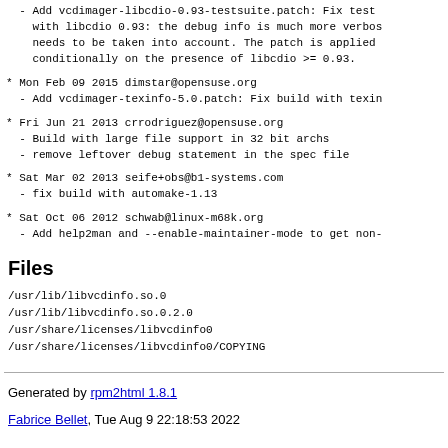- Add vcdimager-libcdio-0.93-testsuite.patch: Fix test with libcdio 0.93: the debug info is much more verbos needs to be taken into account. The patch is applied conditionally on the presence of libcdio >= 0.93.
* Mon Feb 09 2015 dimstar@opensuse.org
- Add vcdimager-texinfo-5.0.patch: Fix build with texin
* Fri Jun 21 2013 crrodriguez@opensuse.org
- Build with large file support in 32 bit archs
- remove leftover debug statement in the spec file
* Sat Mar 02 2013 seife+obs@b1-systems.com
- fix build with automake-1.13
* Sat Oct 06 2012 schwab@linux-m68k.org
- Add help2man and --enable-maintainer-mode to get non-
Files
/usr/lib/libvcdinfo.so.0
/usr/lib/libvcdinfo.so.0.2.0
/usr/share/licenses/libvcdinfo0
/usr/share/licenses/libvcdinfo0/COPYING
Generated by rpm2html 1.8.1
Fabrice Bellet, Tue Aug 9 22:18:53 2022